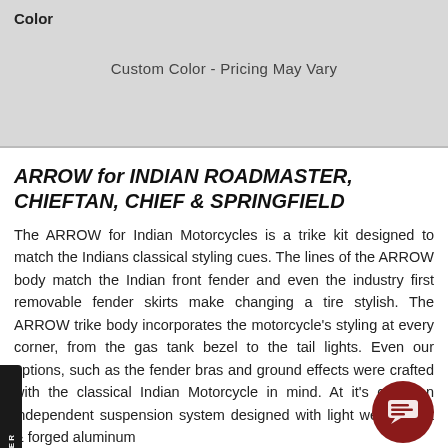Color
Custom Color - Pricing May Vary
ARROW for INDIAN ROADMASTER, CHIEFTAN, CHIEF & SPRINGFIELD
The ARROW for Indian Motorcycles is a trike kit designed to match the Indians classical styling cues. The lines of the ARROW body match the Indian front fender and even the industry first removable fender skirts make changing a tire stylish. The ARROW trike body incorporates the motorcycle's styling at every corner, from the gas tank bezel to the tail lights. Even our options, such as the fender bras and ground effects were crafted with the classical Indian Motorcycle in mind. At it's core, an independent suspension system designed with light weight cast & forged aluminum